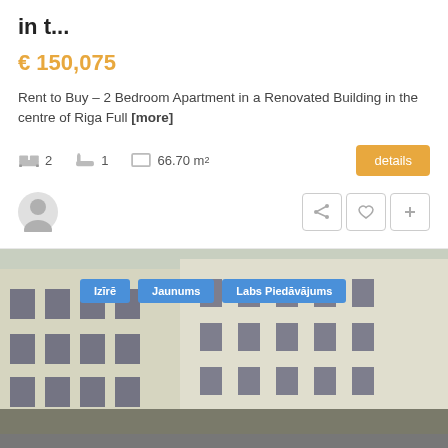in t...
€ 150,075
Rent to Buy – 2 Bedroom Apartment in a Renovated Building in the centre of Riga Full [more]
2  1  66.70 m²  details
[Figure (photo): Exterior photo of a renovated apartment building courtyard in Riga, viewed from a low angle, with tags: Izīrē, Jaunums, Labs Piedāvājums]
By continuing to browse the site, you agree to the Terms of Use. Read more in the "Privacy Policy " and "Cookies " sections. ACCEPT